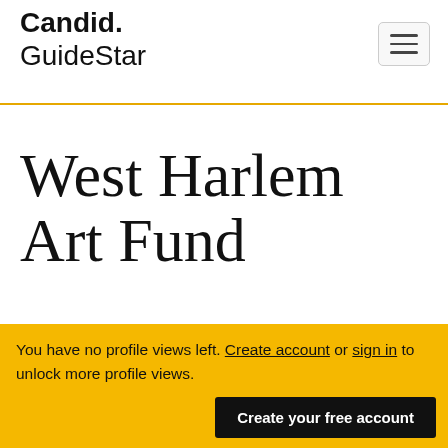Candid. GuideStar
West Harlem Art Fund
New York City, NY
You have no profile views left. Create account or sign in to unlock more profile views.
Create your free account